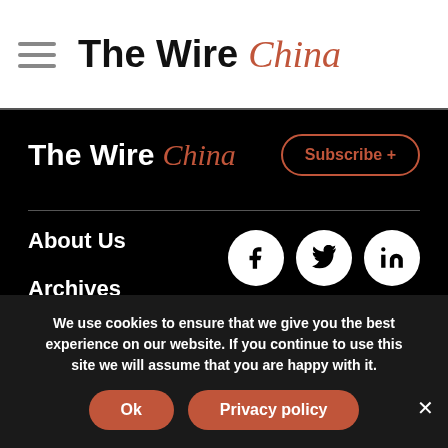The Wire China
The Wire China
Subscribe +
About Us
Archives
[Figure (infographic): Social media icons: Facebook, Twitter, LinkedIn]
We use cookies to ensure that we give you the best experience on our website. If you continue to use this site we will assume that you are happy with it.
Ok   Privacy policy